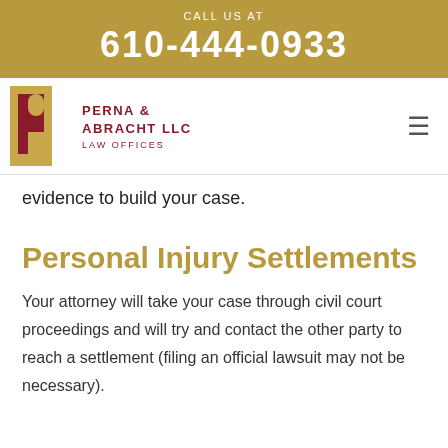CALL US AT
610-444-0933
[Figure (logo): Perna & Abracht LLC Law Offices logo with stylized PR monogram in red and gold]
evidence to build your case.
Personal Injury Settlements
Your attorney will take your case through civil court proceedings and will try and contact the other party to reach a settlement (filing an official lawsuit may not be necessary).